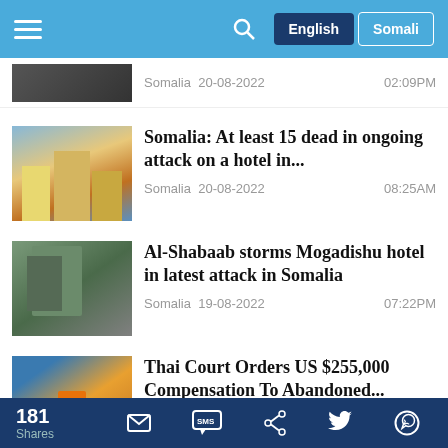Navigation bar with hamburger menu, search icon, English and Somali language buttons
Somalia 20-08-2022  02:09PM
Somalia: At least 15 dead in ongoing attack on a hotel in...
Somalia 20-08-2022  08:25AM
Al-Shabaab storms Mogadishu hotel in latest attack in Somalia
Somalia 19-08-2022  07:22PM
Thai Court Orders US $255,000 Compensation To Abandoned...
181 Shares  [email] [SMS] [share] [twitter] [whatsapp]